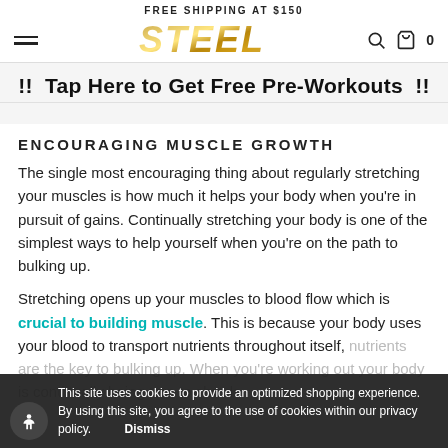FREE SHIPPING AT $150
[Figure (logo): STEEL brand logo in gold metallic italic font, with hamburger menu on left and search/cart icons on right]
!! Tap Here to Get Free Pre-Workouts !!
ENCOURAGING MUSCLE GROWTH
The single most encouraging thing about regularly stretching your muscles is how much it helps your body when you're in pursuit of gains. Continually stretching your body is one of the simplest ways to help yourself when you're on the path to bulking up.
Stretching opens up your muscles to blood flow which is crucial to building muscle. This is because your body uses your blood to transport nutrients throughout itself, nutrients are the key to bulking up. When you're working out your body is continually being torn to shreds.
This site uses cookies to provide an optimized shopping experience. By using this site, you agree to the use of cookies within our privacy policy.  Dismiss